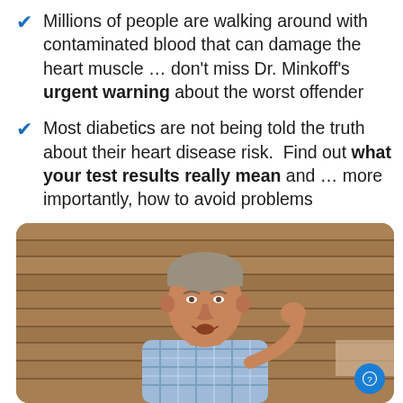Millions of people are walking around with contaminated blood that can damage the heart muscle … don't miss Dr. Minkoff's urgent warning about the worst offender
Most diabetics are not being told the truth about their heart disease risk. Find out what your test results really mean and … more importantly, how to avoid problems
[Figure (photo): A man wearing a blue plaid shirt speaking, against a wooden plank wall background. A blue circular chat button appears in the bottom-right corner of the image.]